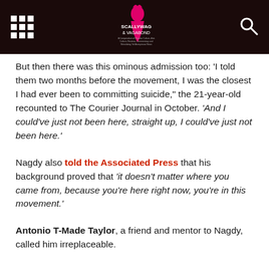Scallywag & Vagabond
But then there was this ominous admission too: 'I told them two months before the movement, I was the closest I had ever been to committing suicide," the 21-year-old recounted to The Courier Journal in October. 'And I could've just not been here, straight up, I could've just not been here.'
Nagdy also told the Associated Press that his background proved that 'it doesn't matter where you came from, because you're here right now, you're in this movement.'
Antonio T-Made Taylor, a friend and mentor to Nagdy, called him irreplaceable.